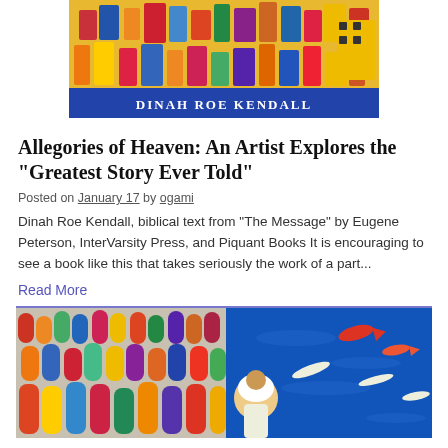[Figure (illustration): Book cover of 'Allegories of Heaven' by Dinah Roe Kendall, showing colorful folk-art style painting of many figures in motion, with author name 'DINAH ROE KENDALL' on a blue banner at the bottom.]
Allegories of Heaven: An Artist Explores the “Greatest Story Ever Told”
Posted on January 17 by ogami
Dinah Roe Kendall, biblical text from “The Message” by Eugene Peterson, InterVarsity Press, and Piquant Books  It is encouraging to see a book like this that takes seriously the work of a part...
Read More
[Figure (illustration): Colorful folk-art style painting showing a large crowd of diverse figures on the left side and a blue water scene with fish, boats, and a central figure in white on the right side.]